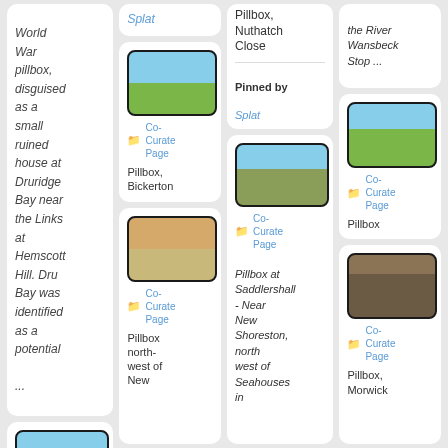World War pillbox, disguised as a small ruined house at Druridge Bay near the Links at Hemscott Hill. Dru Bay was identified as a potential ...
[Figure (photo): Photo of animal in green grassy field]
Co-Curate Page
Pillbox, Bickerton
[Figure (photo): Photo of pillbox structure in field]
Co-Curate Page
Pillbox north-west of New
Splat
Pillbox, Nuthatch Close
Pinned by
Splat
[Figure (photo): Photo of concrete pillbox structure]
Co-Curate Page
Pillbox at Saddlershall - Near New Shoreston, north west of Seahouses in
the River Wansbeck Stop ...
[Figure (photo): Photo of pillbox in green vegetation]
Co-Curate Page
Pillbox
[Figure (photo): Photo of pillbox with vegetation]
Co-Curate Page
Pillbox, Morwick